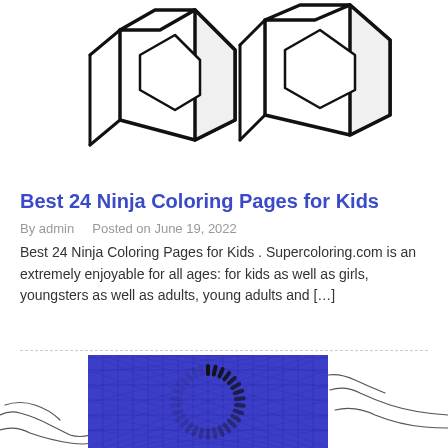[Figure (illustration): Two 3D block letter outlines (appears to be stylized letters) in bold black outline on white background, top portion of the image cut off at the page top.]
Best 24 Ninja Coloring Pages for Kids
By admin   Posted on June 19, 2022
Best 24 Ninja Coloring Pages for Kids . Supercoloring.com is an extremely enjoyable for all ages: for kids as well as girls, youngsters as well as adults, young adults and […]
[Figure (illustration): A blue grid-patterned square image with a circular loading spinner icon in the center, flanked by partial outline drawings of figures on either side.]